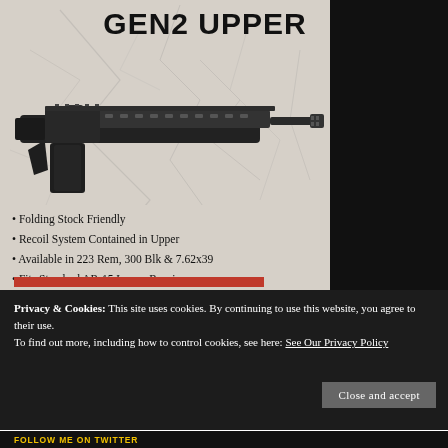GEN2 UPPER
[Figure (photo): Black AR-style rifle upper receiver with long M-LOK handguard, angled diagonally on a cracked stone background]
Folding Stock Friendly
Recoil System Contained in Upper
Available in 223 Rem, 300 Blk & 7.62x39
Fits Standard AR-15 Lower Receivers
Privacy & Cookies: This site uses cookies. By continuing to use this website, you agree to their use.
To find out more, including how to control cookies, see here: See Our Privacy Policy
Close and accept
FOLLOW ME ON TWITTER